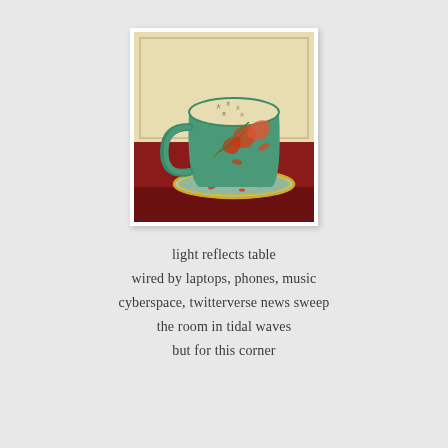[Figure (illustration): Painting of a green teacup with orange floral designs on a matching saucer, placed on a red table surface with a light background. The cup interior shows text/characters. Oil painting style.]
light reflects table
wired by laptops, phones, music
cyberspace, twitterverse news sweep
the room in tidal waves
but for this corner